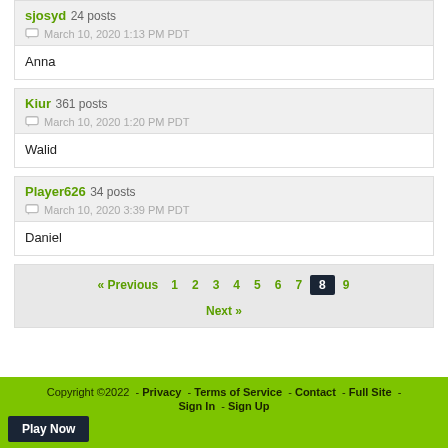sjosyd 24 posts
March 10, 2020 1:13 PM PDT
Anna
Kiur 361 posts
March 10, 2020 1:20 PM PDT
Walid
Player626 34 posts
March 10, 2020 3:39 PM PDT
Daniel
« Previous 1 2 3 4 5 6 7 8 9 Next »
Copyright ©2022 - Privacy - Terms of Service - Contact - Full Site - Sign In - Sign Up